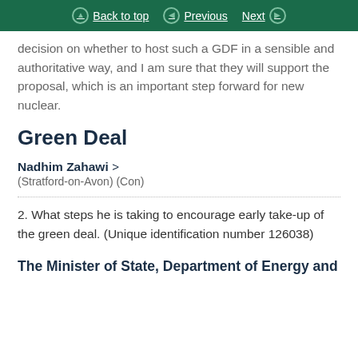Back to top | Previous | Next
decision on whether to host such a GDF in a sensible and authoritative way, and I am sure that they will support the proposal, which is an important step forward for new nuclear.
Green Deal
Nadhim Zahawi > (Stratford-on-Avon) (Con)
2. What steps he is taking to encourage early take-up of the green deal. (Unique identification number 126038)
The Minister of State, Department of Energy and